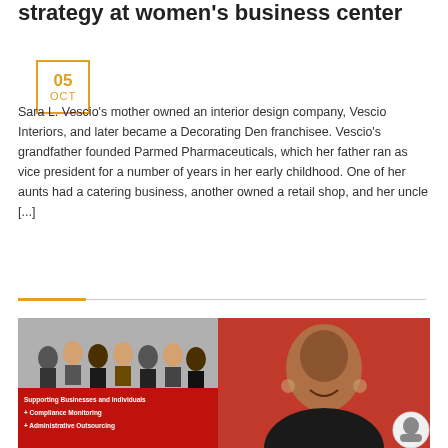strategy at women's business center
05 OCT
Sara L. Vescio's mother owned an interior design company, Vescio Interiors, and later became a Decorating Den franchisee. Vescio's grandfather founded Parmed Pharmaceuticals, which her father ran as vice president for a number of years in her early childhood. One of her aunts had a catering business, another owned a retail shop, and her uncle [...]
[Figure (photo): Left: group photo of business professionals in front of a red banner reading 'Supporting Businesses and Individuals + Compliance Monitoring + Administrative Outsourcing'. Right: portrait photo of a smiling woman against a red background.]